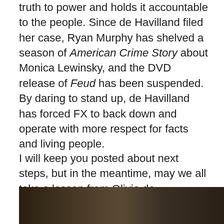truth to power and holds it accountable to the people. Since de Havilland filed her case, Ryan Murphy has shelved a season of American Crime Story about Monica Lewinsky, and the DVD release of Feud has been suspended. By daring to stand up, de Havilland has forced FX to back down and operate with more respect for facts and living people.
I will keep you posted about next steps, but in the meantime, may we all take a lesson from Olivia de Havilland–no matter how great our adversary, we cannot be intimidated by size or power. When we speak up and stand up, look the threat in the eye and assert our own presence, we see that maybe our biggest fears aren't so big after all.
[Figure (photo): Partial photo visible at bottom of page, dark toned image]